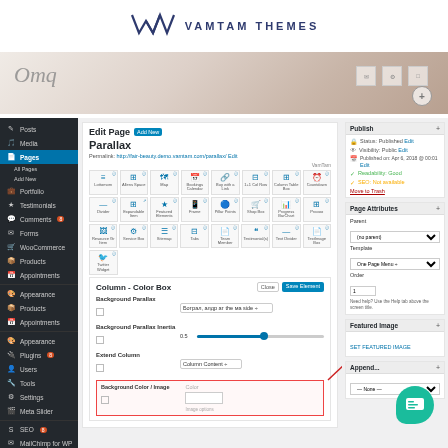[Figure (screenshot): VamTam Themes logo at top of page — stylized W/M lettermark in dark navy blue with 'VAMTAM THEMES' text in spaced caps]
[Figure (screenshot): WordPress admin page screenshot showing Edit Page for 'Parallax' with visual builder shortcode grid, Column-Color Box settings panel with Background Parallax, Background Parallax Inertia slider, Extend Column fields, and a red-highlighted Background Color/Image section with red arrow pointing to it. Right sidebar shows Publish box, Page Attributes, and Featured Image sections. A teal chat bubble icon appears bottom right.]